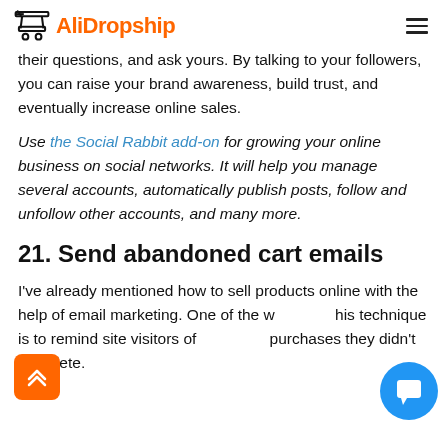AliDropship
their questions, and ask yours. By talking to your followers, you can raise your brand awareness, build trust, and eventually increase online sales.
Use the Social Rabbit add-on for growing your online business on social networks. It will help you manage several accounts, automatically publish posts, follow and unfollow other accounts, and many more.
21. Send abandoned cart emails
I've already mentioned how to sell products online with the help of email marketing. One of the ways this technique is to remind site visitors of purchases they didn't complete.